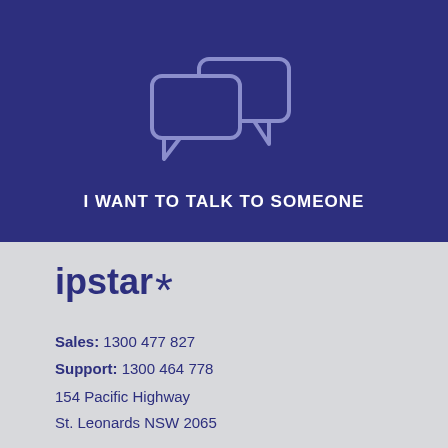[Figure (illustration): Two overlapping speech/chat bubble icons outlined in light purple on a dark navy blue background]
I WANT TO TALK TO SOMEONE
[Figure (logo): ipstar* logo in bold navy blue text with an asterisk]
Sales: 1300 477 827
Support: 1300 464 778
154 Pacific Highway
St. Leonards NSW 2065